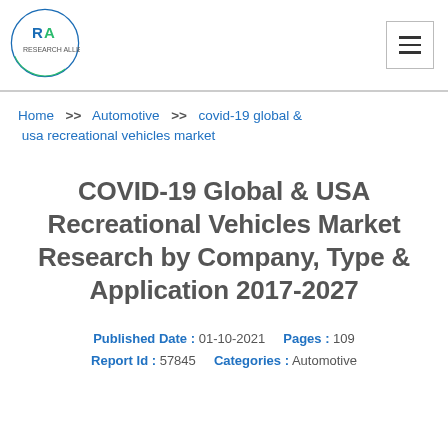[Figure (logo): Research Allied logo: circular border with RA initials and company name]
Home >> Automotive >> covid-19 global & usa recreational vehicles market
COVID-19 Global & USA Recreational Vehicles Market Research by Company, Type & Application 2017-2027
Published Date : 01-10-2021   Pages : 109   Report Id : 57845   Categories : Automotive